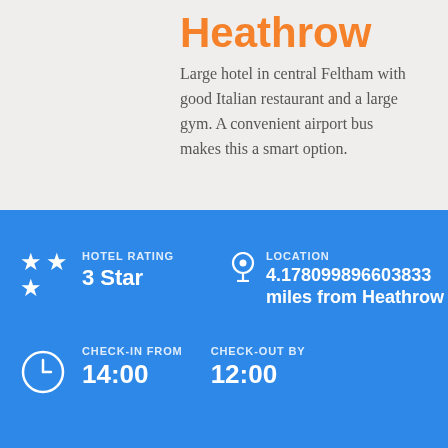Heathrow
Large hotel in central Feltham with good Italian restaurant and a large gym. A convenient airport bus makes this a smart option.
HOTEL RATING
3 Star
LOCATION
4.178099896603833 miles from Heathrow
CHECK-IN FROM
14:00
CHECK-OUT BY
12:00